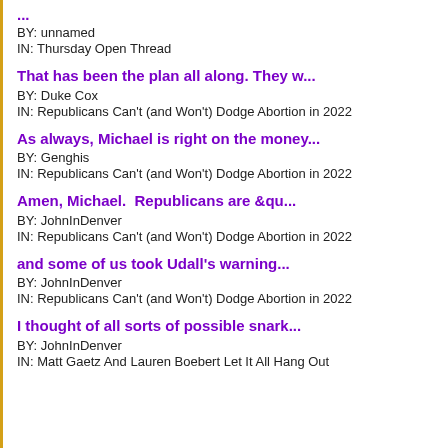...
BY: unnamed
IN: Thursday Open Thread
That has been the plan all along. They w...
BY: Duke Cox
IN: Republicans Can't (and Won't) Dodge Abortion in 2022
As always, Michael is right on the money...
BY: Genghis
IN: Republicans Can't (and Won't) Dodge Abortion in 2022
Amen, Michael.  Republicans are &qu...
BY: JohnInDenver
IN: Republicans Can't (and Won't) Dodge Abortion in 2022
and some of us took Udall's warning...
BY: JohnInDenver
IN: Republicans Can't (and Won't) Dodge Abortion in 2022
I thought of all sorts of possible snark...
BY: JohnInDenver
IN: Matt Gaetz And Lauren Boebert Let It All Hang Out